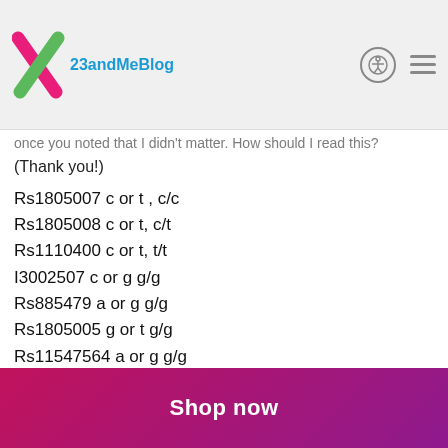[Figure (logo): 23andMe Blog logo with X mark in green and pink/red colors]
once you noted that I didn't matter. How should I read this? (Thank you!)
Rs1805007 c or t , c/c
Rs1805008 c or t, c/t
Rs1110400 c or t, t/t
I3002507 c or g g/g
Rs885479 a or g g/g
Rs1805005 g or t g/g
Rs11547564 a or g g/g
Janine O'Flaherty → Laura Kate McGovern
4 years ago edited
This isn't well-studied yet, but I have a hypothesis that seems likely.
Shop now